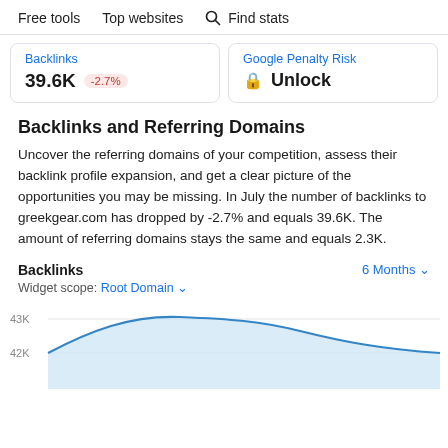Free tools   Top websites   Find stats
| Metric | Value |
| --- | --- |
| Backlinks | 39.6K -2.7% |
| Google Penalty Risk | 🔒 Unlock |
Backlinks and Referring Domains
Uncover the referring domains of your competition, assess their backlink profile expansion, and get a clear picture of the opportunities you may be missing. In July the number of backlinks to greekgear.com has dropped by -2.7% and equals 39.6K. The amount of referring domains stays the same and equals 2.3K.
Backlinks
Widget scope: Root Domain
[Figure (area-chart): Area chart showing backlinks over 6 months, y-axis shows 42K and 43K gridlines, trend rises to ~43K then drops toward 42K]